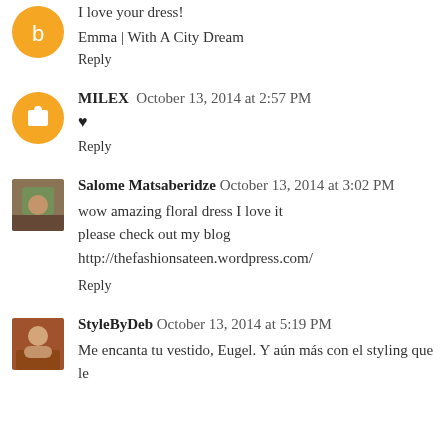I love your dress!
Emma | With A City Dream
Reply
MILEX  October 13, 2014 at 2:57 PM
♥
Reply
Salome Matsaberidze  October 13, 2014 at 3:02 PM
wow amazing floral dress I love it
please check out my blog
http://thefashionsateen.wordpress.com/
Reply
StyleByDeb  October 13, 2014 at 5:19 PM
Me encanta tu vestido, Eugel. Y aún más con el styling que le